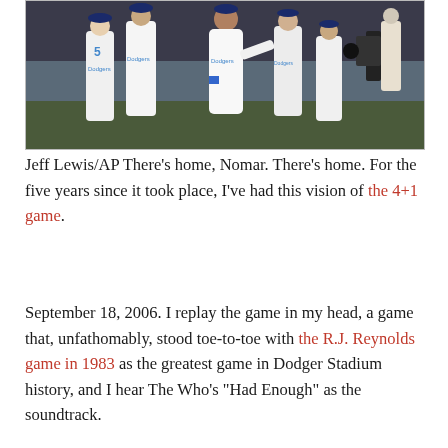[Figure (photo): Baseball players in white Dodgers uniforms celebrating on the field, with TV camera crew visible on the right side.]
Jeff Lewis/APThere’s home, Nomar. There’s home. For the five years since it took place, I’ve had this vision of the 4+1 game.
September 18, 2006. I replay the game in my head, a game that, unfathomably, stood toe-to-toe with the R.J. Reynolds game in 1983 as the greatest game in Dodger Stadium history, and I hear The Who’s “Had Enough” as the soundtrack.